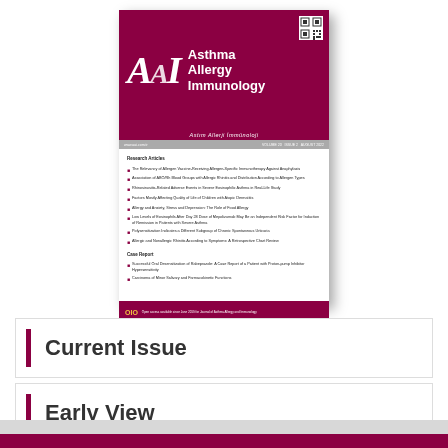[Figure (illustration): Journal cover of Asthma Allergy Immunology (Astim Allerji Immunoloji) showing the journal logo with stylized AAI letters, journal title in white on dark red/maroon background, QR code, and a table of contents listing research articles and case reports]
Current Issue
Early View
Archive